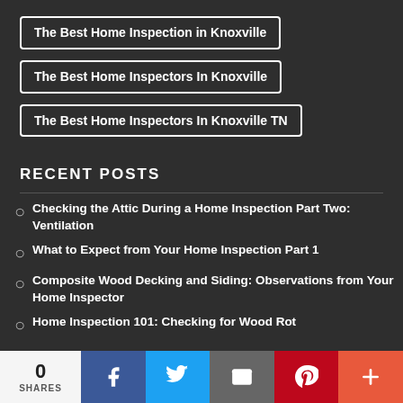The Best Home Inspection in Knoxville
The Best Home Inspectors In Knoxville
The Best Home Inspectors In Knoxville TN
RECENT POSTS
Checking the Attic During a Home Inspection Part Two: Ventilation
What to Expect from Your Home Inspection Part 1
Composite Wood Decking and Siding: Observations from Your Home Inspector
Home Inspection 101: Checking for Wood Rot
0 SHARES